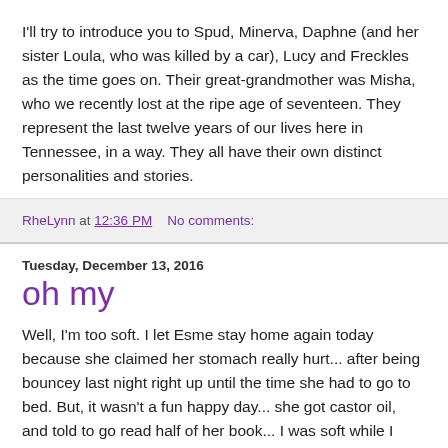I'll try to introduce you to Spud, Minerva, Daphne (and her sister Loula, who was killed by a car), Lucy and Freckles as the time goes on.  Their great-grandmother was Misha, who we recently lost at the ripe age of seventeen.  They represent the last twelve years of our lives here in Tennessee, in a way.  They all have their own distinct personalities and stories.
RheLynn at 12:36 PM    No comments:
Tuesday, December 13, 2016
oh my
Well, I'm too soft.  I let Esme stay home again today because she claimed her stomach really hurt... after being bouncey last night right up until the time she had to go to bed.  But, it wasn't a fun happy day... she got castor oil, and told to go read half of her book... I was soft while I went to take a bath, because I was freezing.  She played Minecraft then.  And